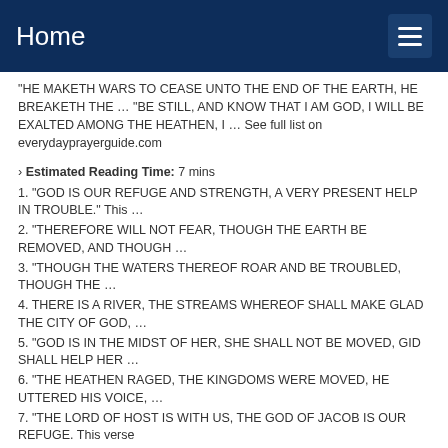Home
“HE MAKETH WARS TO CEASE UNTO THE END OF THE EARTH, HE BREAKETH THE … “BE STILL, AND KNOW THAT I AM GOD, I WILL BE EXALTED AMONG THE HEATHEN, I … See full list on everydayprayerguide.com
› Estimated Reading Time: 7 mins
1. “GOD IS OUR REFUGE AND STRENGTH, A VERY PRESENT HELP IN TROUBLE.” This …
2. “THEREFORE WILL NOT FEAR, THOUGH THE EARTH BE REMOVED, AND THOUGH …
3. “THOUGH THE WATERS THEREOF ROAR AND BE TROUBLED, THOUGH THE …
4. THERE IS A RIVER, THE STREAMS WHEREOF SHALL MAKE GLAD THE CITY OF GOD, …
5. “GOD IS IN THE MIDST OF HER, SHE SHALL NOT BE MOVED, GID SHALL HELP HER …
6. “THE HEATHEN RAGED, THE KINGDOMS WERE MOVED, HE UTTERED HIS VOICE, …
7. “THE LORD OF HOST IS WITH US, THE GOD OF JACOB IS OUR REFUGE. This verse